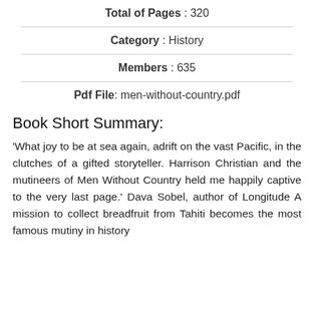Total of Pages : 320
Category : History
Members : 635
Pdf File: men-without-country.pdf
Book Short Summary:
'What joy to be at sea again, adrift on the vast Pacific, in the clutches of a gifted storyteller. Harrison Christian and the mutineers of Men Without Country held me happily captive to the very last page.' Dava Sobel, author of Longitude A mission to collect breadfruit from Tahiti becomes the most famous mutiny in history